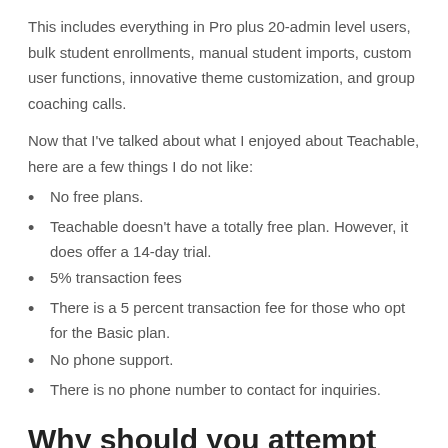This includes everything in Pro plus 20-admin level users, bulk student enrollments, manual student imports, custom user functions, innovative theme customization, and group coaching calls.
Now that I've talked about what I enjoyed about Teachable, here are a few things I do not like:
No free plans.
Teachable doesn't have a totally free plan. However, it does offer a 14-day trial.
5% transaction fees
There is a 5 percent transaction fee for those who opt for the Basic plan.
No phone support.
There is no phone number to contact for inquiries.
Why should you attempt it?